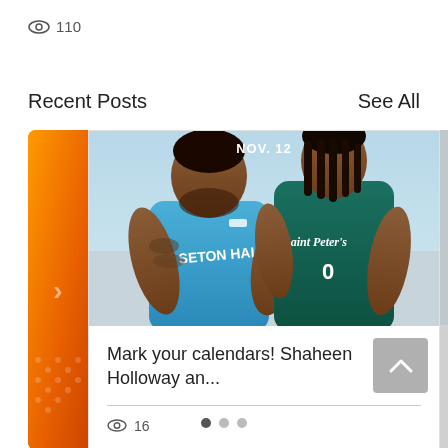110
Recent Posts
See All
[Figure (photo): Basketball players - one in Seton Hall blue jersey, one in Saint Peter's teal jersey, with NOV. 12 label at top]
Mark your calendars! Shaheen Holloway an...
16